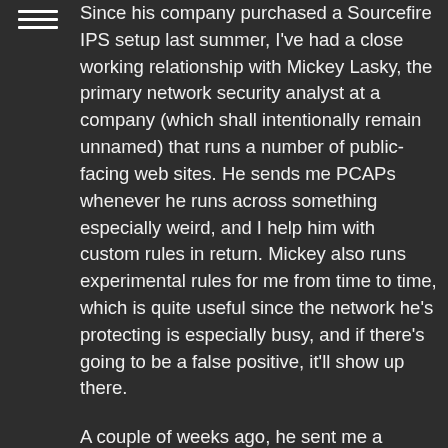Since his company purchased a Sourcefire IPS setup last summer, I've had a close working relationship with Mickey Lasky, the primary network security analyst at a company (which shall intentionally remain unnamed) that runs a number of public-facing web sites. He sends me PCAPs whenever he runs across something especially weird, and I help him with custom rules in return. Mickey also runs experimental rules for me from time to time, which is quite useful since the network he's protecting is especially busy, and if there's going to be a false positive, it'll show up there.
A couple of weeks ago, he sent me a particularly interesting set of PCAPs, saying that he'd collected them after discovering that a single, determined intruder was busy dropping malware on the web servers he's watching over by uploading PHP code to them via POST requests. By itself, that's not all that exciting; what I found interesting was the way the